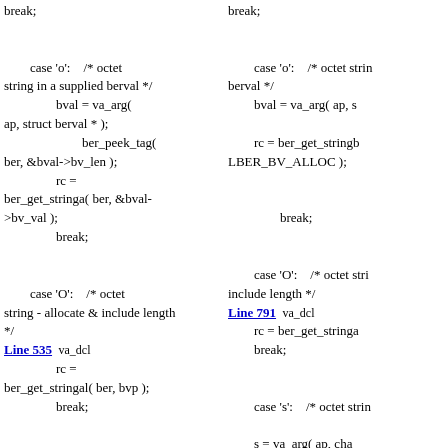break;

        case 'o':    /* octet string in a supplied berval */
                bval = va_arg(
ap, struct berval * );
                        ber_peek_tag(
ber, &bval->bv_len );
                rc =
ber_get_stringa( ber, &bval->bv_val );
                break;

        case 'O':    /* octet string - allocate & include length
*/
Line 535  va_dcl
                rc =
ber_get_stringal( ber, bvp );
                break;

        case 'B':    /* bit string - allocate storage as
needed */
        ss = va_arg( ap,
char ** );
break;

        case 'o':    /* octet string in a supplied berval */
                bval = va_arg( ap, s
                rc = ber_get_stringb
LBER_BV_ALLOC );

                break;

        case 'O':    /* octet stri
include length */
Line 791  va_dcl
                rc = ber_get_stringa
                break;

        case 's':    /* octet strin

        s = va_arg( ap, cha